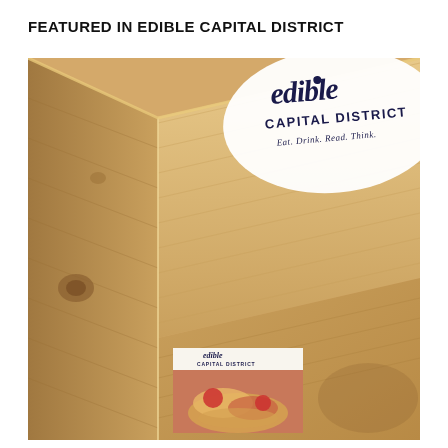FEATURED IN EDIBLE CAPITAL DISTRICT
[Figure (photo): A wooden crate or box photographed from above at an angle, showing its interior with natural pine wood grain and visible knots. In the upper right corner of the box interior, a large sticker logo reads 'edible CAPITAL DISTRICT — Eat. Drink. Read. Think.' in dark navy blue script and serif lettering. At the bottom of the crate sits a copy of the Edible Capital District magazine, showing its cover with a pasta dish topped with tomatoes and a small 'edible CAPITAL DISTRICT' masthead.]